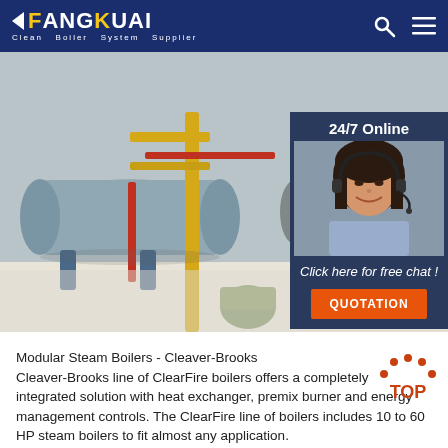FANGKUAI - Clean Boiler System Supplier
[Figure (photo): Industrial boiler room showing large cylindrical steam boilers with yellow and red pipework, blue support stands, in a white-floored facility. Overlay shows a female customer service representative with headset for 24/7 Online chat, with a QUOTATION button.]
Modular Steam Boilers - Cleaver-Brooks
Cleaver-Brooks line of ClearFire boilers offers a completely integrated solution with heat exchanger, premix burner and energy management controls. The ClearFire line of boilers includes 10 to 60 HP steam boilers to fit almost any application.